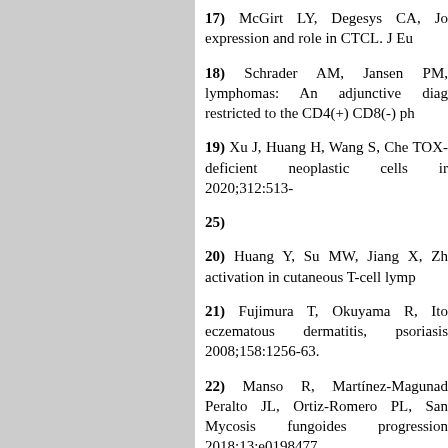17) McGirt LY, Degesys CA, Jo expression and role in CTCL. J Eu
18) Schrader AM, Jansen PM, lymphomas: An adjunctive diag restricted to the CD4(+) CD8(-) ph
19) Xu J, Huang H, Wang S, Che TOX-deficient neoplastic cells ir 2020;312:513-
25)
20) Huang Y, Su MW, Jiang X, Zh activation in cutaneous T-cell lymp
21) Fujimura T, Okuyama R, Ito eczematous dermatitis, psoriasis 2008;158:1256-63.
22) Manso R, Martínez-Magunad Peralto JL, Ortiz-Romero PL, San Mycosis fungoides progression 2018;13:e0198477.
23) Perelman M, Rozenblat M, El Sprecher E, Goldberg I. FOXP3